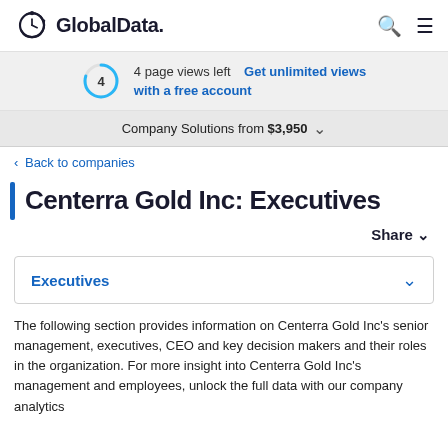GlobalData.
4 page views left  Get unlimited views with a free account
Company Solutions from $3,950
< Back to companies
Centerra Gold Inc: Executives
Share
Executives
The following section provides information on Centerra Gold Inc's senior management, executives, CEO and key decision makers and their roles in the organization. For more insight into Centerra Gold Inc's management and employees, unlock the full data with our company analytics